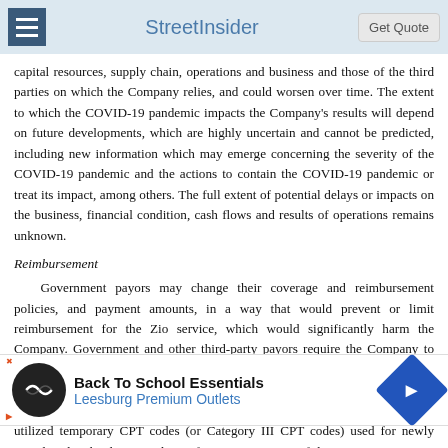StreetInsider | Get Quote
capital resources, supply chain, operations and business and those of the third parties on which the Company relies, and could worsen over time. The extent to which the COVID-19 pandemic impacts the Company's results will depend on future developments, which are highly uncertain and cannot be predicted, including new information which may emerge concerning the severity of the COVID-19 pandemic and the actions to contain the COVID-19 pandemic or treat its impact, among others. The full extent of potential delays or impacts on the business, financial condition, cash flows and results of operations remains unknown.
Reimbursement
Government payors may change their coverage and reimbursement policies, and payment amounts, in a way that would prevent or limit reimbursement for the Zio service, which would significantly harm the Company. Government and other third-party payors require the Company to report the service for which it is seeking reimbursement by using a Current Procedural Terminology (“CPT”), a code-set maintained by the American Medical Association (“AMA”). For Zio XT, the Company had historically utilized temporary CPT codes (or Category III CPT codes) used for newly introduced technologies and specific to our category of diagnostic monitoring. The process to convert Category III CPT codes to Category I... dicare and Medicaid ...orial Panel established...
[Figure (other): Advertisement overlay: Back To School Essentials - Leesburg Premium Outlets]